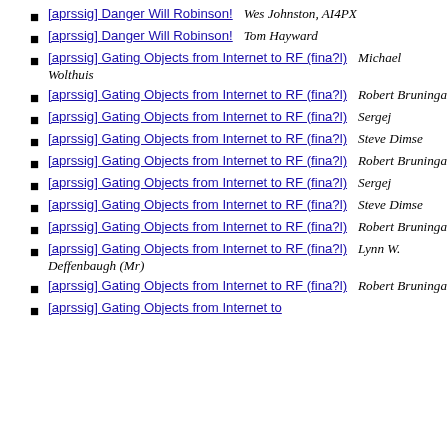[aprssig] Danger Will Robinson!   Wes Johnston, AI4PX
[aprssig] Danger Will Robinson!   Tom Hayward
[aprssig] Gating Objects from Internet to RF (fina?l)   Michael Wolthuis
[aprssig] Gating Objects from Internet to RF (fina?l)   Robert Bruninga
[aprssig] Gating Objects from Internet to RF (fina?l)   Sergej
[aprssig] Gating Objects from Internet to RF (fina?l)   Steve Dimse
[aprssig] Gating Objects from Internet to RF (fina?l)   Robert Bruninga
[aprssig] Gating Objects from Internet to RF (fina?l)   Sergej
[aprssig] Gating Objects from Internet to RF (fina?l)   Steve Dimse
[aprssig] Gating Objects from Internet to RF (fina?l)   Robert Bruninga
[aprssig] Gating Objects from Internet to RF (fina?l)   Lynn W. Deffenbaugh (Mr)
[aprssig] Gating Objects from Internet to RF (fina?l)   Robert Bruninga
[aprssig] Gating Objects from Internet to RF (fina?l)